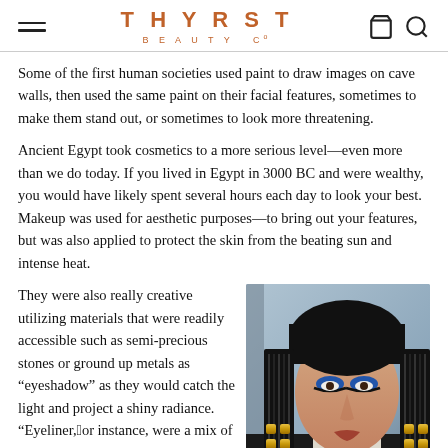THYRST BEAUTY Co
Some of the first human societies used paint to draw images on cave walls, then used the same paint on their facial features, sometimes to make them stand out, or sometimes to look more threatening.
Ancient Egypt took cosmetics to a more serious level—even more than we do today. If you lived in Egypt in 3000 BC and were wealthy, you would have likely spent several hours each day to look your best. Makeup was used for aesthetic purposes—to bring out your features, but was also applied to protect the skin from the beating sun and intense heat.
They were also really creative utilizing materials that were readily accessible such as semi-precious stones or ground up metals as “eyeshadow” as they would catch the light and project a shiny radiance. “Eyeliner,”for instance, were a mix of lead
[Figure (photo): Photo of a woman dressed as Cleopatra with heavy Egyptian-style eye makeup, black braided wig with gold bead decorations, wearing a black and white costume against a blue-grey background.]